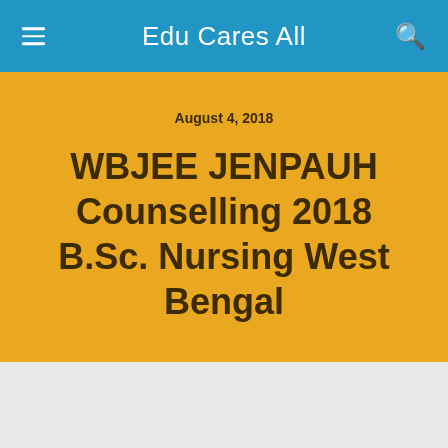Edu Cares All
August 4, 2018
WBJEE JENPAUH Counselling 2018 B.Sc. Nursing West Bengal